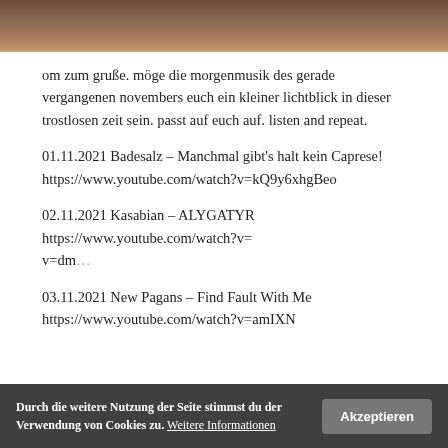[Figure (photo): Top portion of a dark wooden surface photo, warm brown tones]
om zum gruße. möge die morgenmusik des gerade vergangenen novembers euch ein kleiner lichtblick in dieser trostlosen zeit sein. passt auf euch auf. listen and repeat.
01.11.2021 Badesalz – Manchmal gibt's halt kein Caprese! https://www.youtube.com/watch?v=kQ9y6xhgBeo
02.11.2021 Kasabian – ALYGATYR https://www.youtube.com/watch?v=dm...
03.11.2021 New Pagans – Find Fault With Me https://www.youtube.com/watch?v=amIXN...
Durch die weitere Nutzung der Seite stimmst du der Verwendung von Cookies zu. Weitere Informationen  Akzeptieren